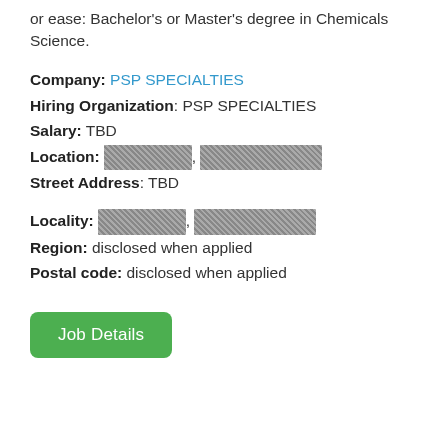or ease: Bachelor's or Master's degree in Chemicals Science.
Company: PSP SPECIALTIES
Hiring Organization: PSP SPECIALTIES
Salary: TBD
Location: [redacted], [redacted]
Street Address: TBD
Locality: [redacted], [redacted]
Region: disclosed when applied
Postal code: disclosed when applied
[Figure (other): Green rounded rectangle button labeled 'Job Details']